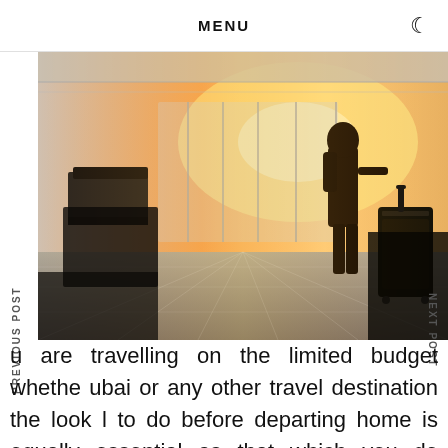MENU
[Figure (photo): Airport terminal scene with silhouette of a traveler with luggage and rolling suitcase against warm orange sunset light, rows of seating visible in background]
PREVIOUS POST
NEXT POST
u are travelling on the limited budget whethe ubai or any other travel destination the look l to do before departing home is equally essential as that which you do when you are for your travel destination. Make certain you've considered carefully which travel & leisure location to pick. Gather as numerous travel destination tips as